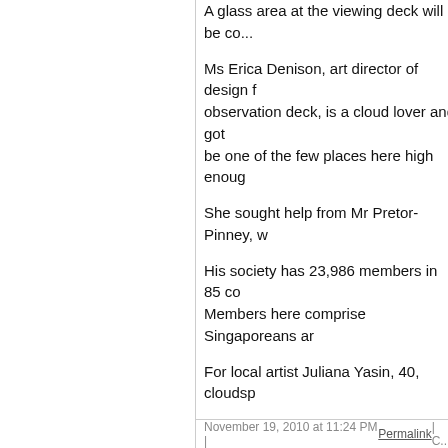A glass area at the viewing deck will be co...
Ms Erica Denison, art director of design f... observation deck, is a cloud lover and got... be one of the few places here high enoug...
She sought help from Mr Pretor-Pinney, w...
His society has 23,986 members in 85 co... Members here comprise Singaporeans ar...
For local artist Juliana Yasin, 40, cloudsp...
'The clouds display variations of colour, c... sky,' says Ms Yasin, who has done more t...
Cloudspotting is a blast back to his childh... College.
'I remember lying down in the park in the ... to point out animals in the clouds and I am... own membership to the cloud society.
'Kids are expert cloudspotters,' Mr Brogde...
Cloudspotting for teacher Jane Hughes, 4... think of my two children who are studying...
All Singaporeans are cloudspotters, whet...
'Singaporeans know when it is going to ra... skies because we are always surrounded...
November 19, 2010 at 11:24 PM | Permalink | C...